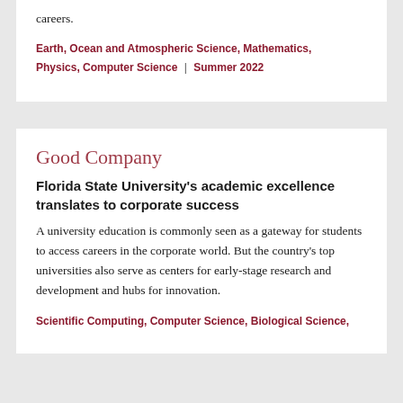careers.
Earth, Ocean and Atmospheric Science, Mathematics, Physics, Computer Science | Summer 2022
Good Company
Florida State University's academic excellence translates to corporate success
A university education is commonly seen as a gateway for students to access careers in the corporate world. But the country's top universities also serve as centers for early-stage research and development and hubs for innovation.
Scientific Computing, Computer Science, Biological Science,